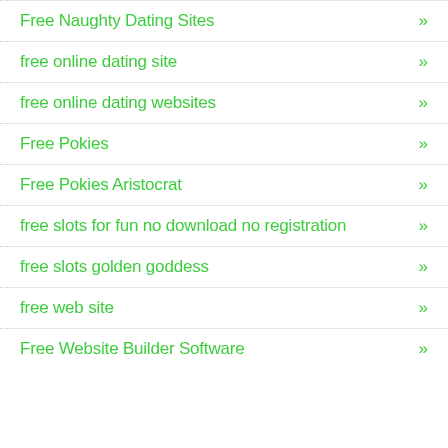Free Naughty Dating Sites »
free online dating site »
free online dating websites »
Free Pokies »
Free Pokies Aristocrat »
free slots for fun no download no registration »
free slots golden goddess »
free web site »
Free Website Builder Software »